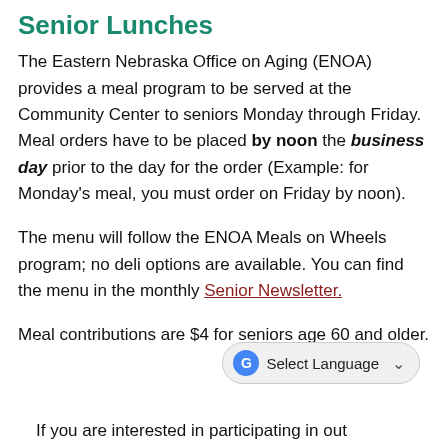Senior Lunches
The Eastern Nebraska Office on Aging (ENOA) provides a meal program to be served at the Community Center to seniors Monday through Friday. Meal orders have to be placed by noon the business day prior to the day for the order (Example: for Monday's meal, you must order on Friday by noon).
The menu will follow the ENOA Meals on Wheels program; no deli options are available. You can find the menu in the monthly Senior Newsletter.
Meal contributions are $4 for seniors age 60 and older.
If you are interested in participating in out